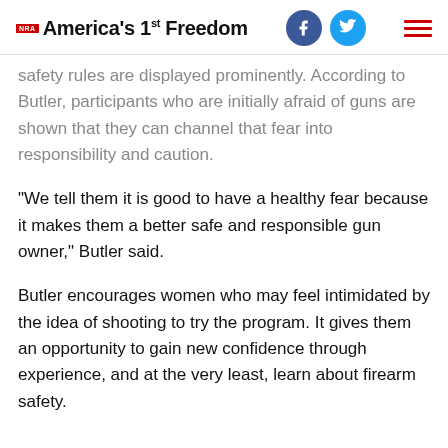NRA America's 1st Freedom
safety rules are displayed prominently. According to Butler, participants who are initially afraid of guns are shown that they can channel that fear into responsibility and caution.
“We tell them it is good to have a healthy fear because it makes them a better safe and responsible gun owner,” Butler said.
Butler encourages women who may feel intimidated by the idea of shooting to try the program. It gives them an opportunity to gain new confidence through experience, and at the very least, learn about firearm safety.